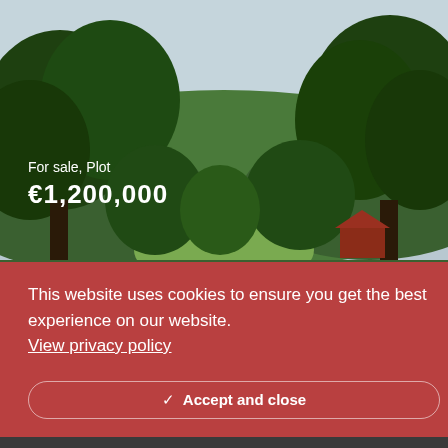[Figure (photo): Forested landscape with green trees, overcast sky, and a small red building visible through the trees on the right side]
For sale, Plot
€1,200,000
Vinyet / Can Pei
r sale in Can Girona,
This website uses cookies to ensure you get the best experience on our website.
View privacy policy
Accept and close
More
Call us
Request call
Request info